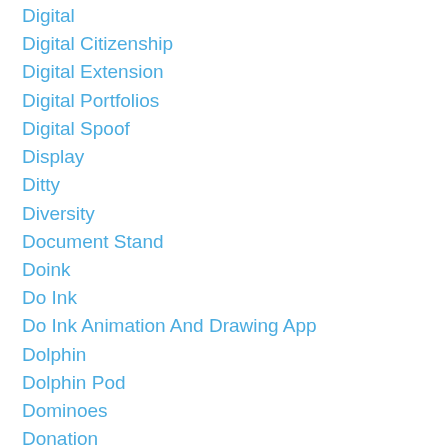Digital
Digital Citizenship
Digital Extension
Digital Portfolios
Digital Spoof
Display
Ditty
Diversity
Document Stand
Doink
Do Ink
Do Ink Animation And Drawing App
Dolphin
Dolphin Pod
Dominoes
Donation
Donorschoose
Don't Crush My Dreams
Dont Crush My Dreams
Doodle 4 Google
Doodles